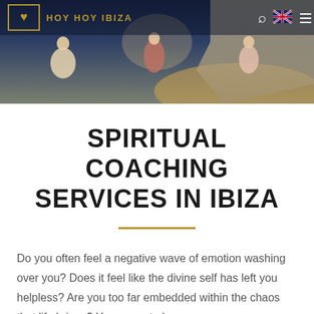[Figure (photo): Website header with navigation bar showing HOY HOY IBIZA logo in gold on dark background, and a background photo of people practicing yoga/stretching outdoors near cliffs and golden fields]
SPIRITUAL COACHING SERVICES IN IBIZA
Do you often feel a negative wave of emotion washing over you? Does it feel like the divine self has left you helpless? Are you too far embedded within the chaos that life brings? You are not alone. However, you don't have to stay the same as a